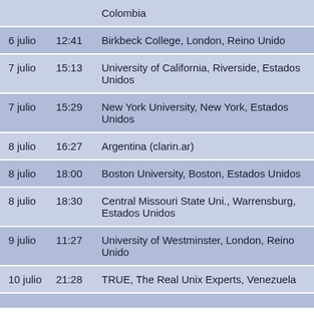| Fecha | Hora | Lugar |
| --- | --- | --- |
|  |  | Colombia |
| 6 julio | 12:41 | Birkbeck College, London, Reino Unido |
| 7 julio | 15:13 | University of California, Riverside, Estados Unidos |
| 7 julio | 15:29 | New York University, New York, Estados Unidos |
| 8 julio | 16:27 | Argentina (clarin.ar) |
| 8 julio | 18:00 | Boston University, Boston, Estados Unidos |
| 8 julio | 18:30 | Central Missouri State Uni., Warrensburg, Estados Unidos |
| 9 julio | 11:27 | University of Westminster, London, Reino Unido |
| 10 julio | 21:28 | TRUE, The Real Unix Experts, Venezuela |